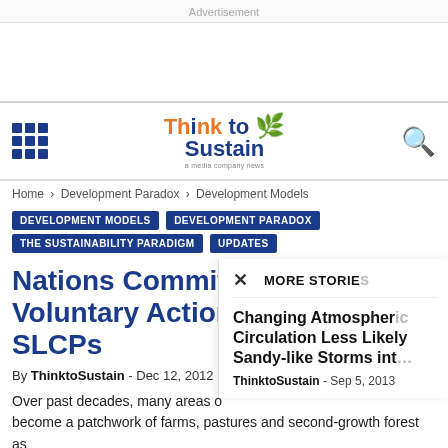Advertisement
[Figure (logo): Think to Sustain website logo with orange and blue text and green leaf icon]
Home › Development Paradox › Development Models
DEVELOPMENT MODELS  DEVELOPMENT PARADOX  THE SUSTAINABILITY PARADIGM  UPDATES
Nations Commit Voluntary Action SLCPs
By ThinktoSustain - Dec 12, 2012
Over past decades, many areas of become a patchwork of farms, pastures and second-growth forest as people have moved in and cleared land – but now many are moving
× MORE STORIES
Changing Atmospheric Circulation Less Likely Sandy-like Storms int…
ThinktoSustain - Sep 5, 2013